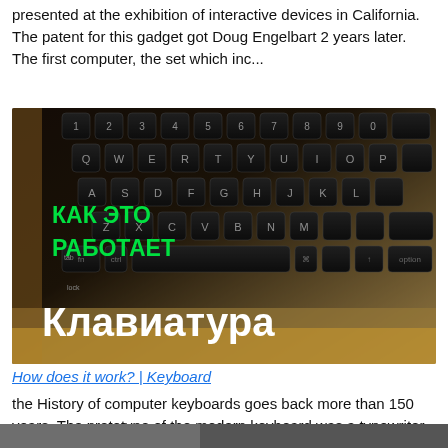presented at the exhibition of interactive devices in California. The patent for this gadget got Doug Engelbart 2 years later. The first computer, the set which inc...
[Figure (photo): Close-up photo of a laptop keyboard (MacBook style, gold/black keys) with Russian text overlay: 'КАК ЭТО РАБОТАЕТ' in green at top left, and 'Клавиатура' in large white bold text at the bottom.]
How does it work? | Keyboard
the History of computer keyboards goes back more than 150 years. The prototype of the modern keyboard was a typewriter, which appeared in the mid-nineteenth century. First, the keys with letters placed alphabetically. However, ove...
[Figure (photo): Partial image at bottom of page, cropped.]